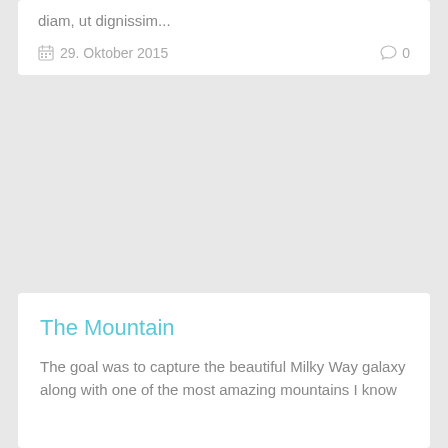diam, ut dignissim...
29. Oktober 2015   ○ 0
The Mountain
The goal was to capture the beautiful Milky Way galaxy along with one of the most amazing mountains I know